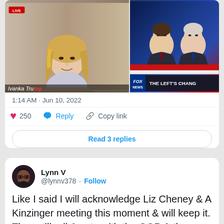[Figure (screenshot): Two side-by-side TV screenshots: left shows Ivanka Trump on a news broadcast, right shows two men on Fox News with 'THE LEFT'S CHANG...' chyron]
1:14 AM · Jun 10, 2022
250   Reply   Copy link
Read 3 replies
Lynn V @lynnv378 · Follow
Like I said I will acknowledge Liz Cheney & A Kinzinger meeting this moment & will keep it. They still roll & vote with the GOP & they rem to our rights. That's a fact.